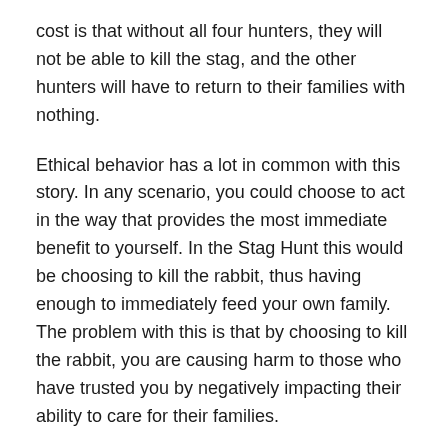cost is that without all four hunters, they will not be able to kill the stag, and the other hunters will have to return to their families with nothing.
Ethical behavior has a lot in common with this story. In any scenario, you could choose to act in the way that provides the most immediate benefit to yourself. In the Stag Hunt this would be choosing to kill the rabbit, thus having enough to immediately feed your own family. The problem with this is that by choosing to kill the rabbit, you are causing harm to those who have trusted you by negatively impacting their ability to care for their families.
If you were to choose to continue on with the hunt and go on to kill the Stag, you would eventually obtain the same benefit that you would get from killing the rabbit in that you are able to feed your family. In addition to being able to feed your family, you